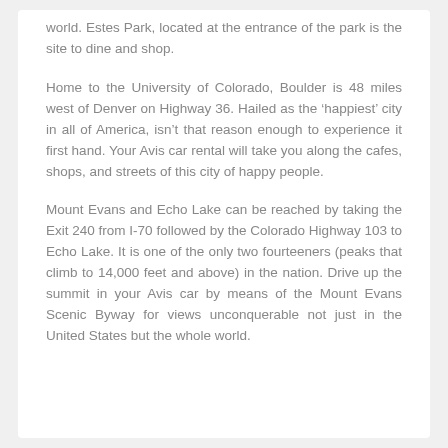world. Estes Park, located at the entrance of the park is the site to dine and shop.
Home to the University of Colorado, Boulder is 48 miles west of Denver on Highway 36. Hailed as the 'happiest' city in all of America, isn't that reason enough to experience it first hand. Your Avis car rental will take you along the cafes, shops, and streets of this city of happy people.
Mount Evans and Echo Lake can be reached by taking the Exit 240 from I-70 followed by the Colorado Highway 103 to Echo Lake. It is one of the only two fourteeners (peaks that climb to 14,000 feet and above) in the nation. Drive up the summit in your Avis car by means of the Mount Evans Scenic Byway for views unconquerable not just in the United States but the whole world.